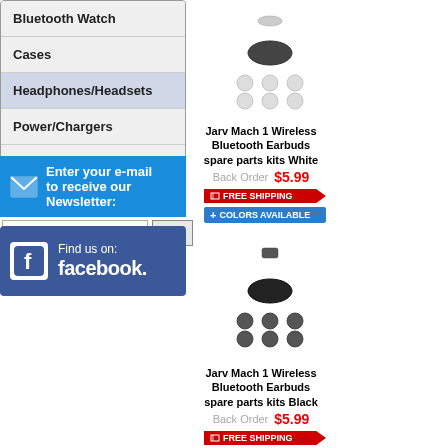Bluetooth Watch
Cases
Headphones/Headsets
Power/Chargers
Screen Protectors
Enter your e-mail to receive our Newsletter:
[Figure (logo): Facebook logo button: Find us on facebook.]
[Figure (photo): Jarv Mach 1 Wireless Bluetooth Earbuds spare parts kits White product image]
Jarv Mach 1 Wireless Bluetooth Earbuds spare parts kits White
Back Order  $5.99
FREE SHIPPING
+ COLORS AVAILABLE
[Figure (photo): Jarv Mach 1 Wireless Bluetooth Earbuds spare parts kits Black product image]
Jarv Mach 1 Wireless Bluetooth Earbuds spare parts kits Black
Back Order  $5.99